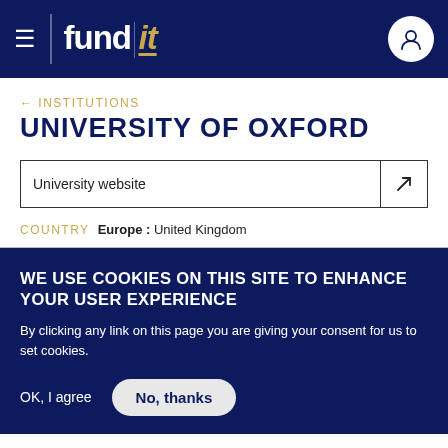fund it — navigation header
← INSTITUTIONS
UNIVERSITY OF OXFORD
University website
COUNTRY  Europe : United Kingdom
WE USE COOKIES ON THIS SITE TO ENHANCE YOUR USER EXPERIENCE
By clicking any link on this page you are giving your consent for us to set cookies.
OK, I agree    No, thanks